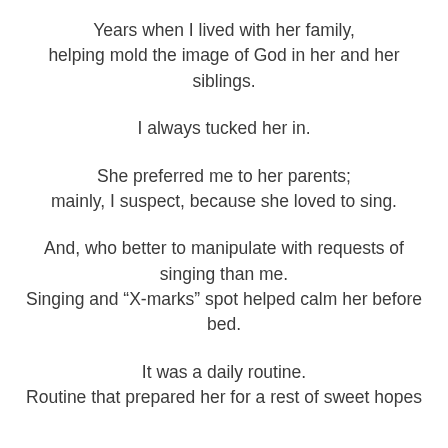Years when I lived with her family,
helping mold the image of God in her and her siblings.
I always tucked her in.
She preferred me to her parents;
mainly, I suspect, because she loved to sing.
And, who better to manipulate with requests of singing than me.
Singing and “X-marks” spot helped calm her before bed.
It was a daily routine.
Routine that prepared her for a rest of sweet hopes